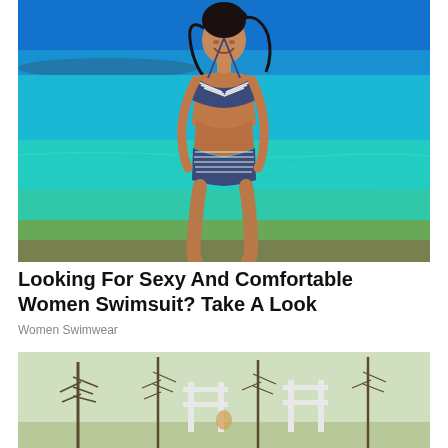[Figure (photo): Woman in striped bikini standing in clear turquoise ocean water with blue sky in background]
Looking For Sexy And Comfortable Women Swimsuit? Take A Look
Women Swimwear
[Figure (photo): Outdoor scene with trees and white structures, partial view at bottom of page]